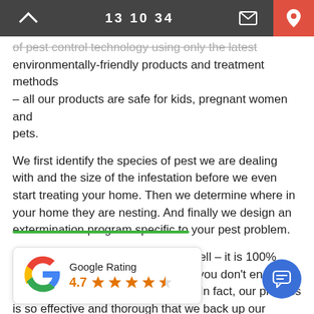13 10 34
of pest control technology using only the latest environmentally-friendly products and treatment methods – all our products are safe for kids, pregnant women and pets.
We first identify the species of pest we are dealing with and the size of the infestation before we even start treating your home. Then we determine where in your home they are nesting. And finally we design an extermination program specific to your pest problem.
This is why our process works so well – it is 100% targeted to you pest infestation, so you don't end up paying for services you don't need. In fact, our process is so effective and thorough that we back up our results and service with the best guarantee in the industry. We want
[Figure (infographic): Google Rating card showing 4.7 stars with Google G logo and star icons in orange]
[Figure (infographic): Blue circular chat button with message icon]